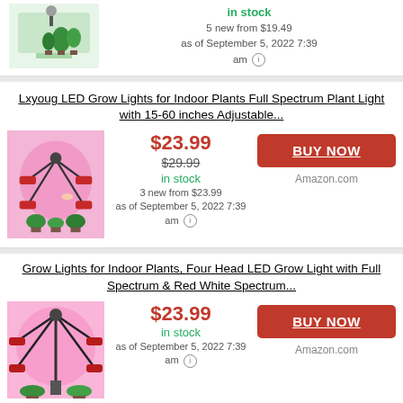[Figure (photo): Product image of a grow light with plants on a desk]
in stock
5 new from $19.49
as of September 5, 2022 7:39 am
Lxyoug LED Grow Lights for Indoor Plants Full Spectrum Plant Light with 15-60 inches Adjustable...
[Figure (photo): Product image of Lxyoug LED grow light with pink lighting and plants]
$23.99
$29.99
in stock
3 new from $23.99
as of September 5, 2022 7:39 am
BUY NOW
Amazon.com
Grow Lights for Indoor Plants, Four Head LED Grow Light with Full Spectrum & Red White Spectrum...
[Figure (photo): Product image of a four-head LED grow light with pink lighting and plants]
$23.99
in stock
as of September 5, 2022 7:39 am
BUY NOW
Amazon.com